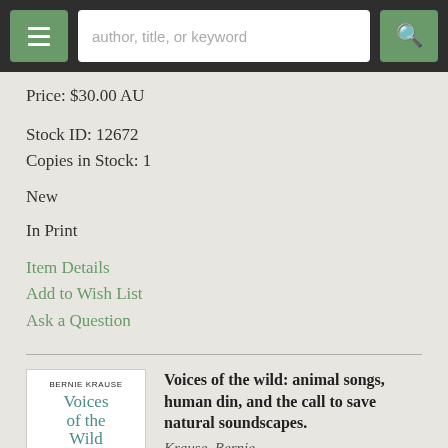author, title, or keyword [search bar with hamburger menu and search button]
Price: $30.00 AU
Stock ID: 12672
Copies in Stock: 1
New
In Print
Item Details
Add to Wish List
Ask a Question
[Figure (illustration): Book cover of 'Voices of the Wild' by Bernie Krause, showing the title in teal/green serif font with a black silhouette of a tree at the bottom, on white background.]
Voices of the wild: animal songs, human din, and the call to save natural soundscapes.
Krause, Bernie.
New Haven: Yale University Press, 2015.